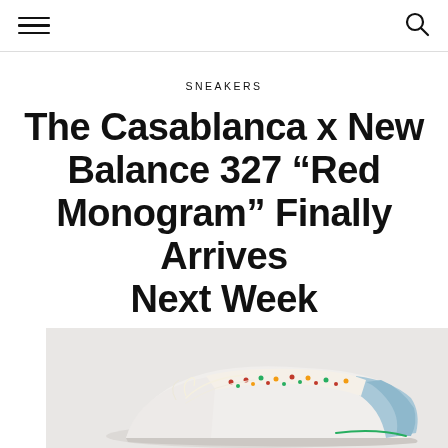SNEAKERS
The Casablanca x New Balance 327 “Red Monogram” Finally Arrives Next Week
18TH MAY 2021
[Figure (photo): Close-up photo of the Casablanca x New Balance 327 Red Monogram sneaker, showing colorful monogram embroidery pattern on a white shoe with light blue heel, on a light grey background.]